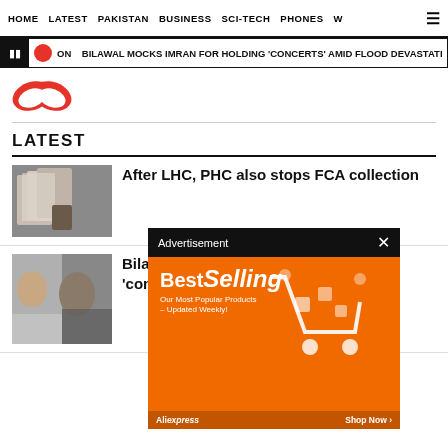HOME  LATEST  PAKISTAN  BUSINESS  SCI-TECH  PHONES  W
BILAWAL MOCKS IMRAN FOR HOLDING 'CONCERTS' AMID FLOOD DEVASTATI
[Figure (logo): Red logo wings/icon]
LATEST
[Figure (photo): After LHC, PHC also stops FCA collection - stacked documents photo]
After LHC, PHC also stops FCA collection
[Figure (photo): Bilawal mocks 'concerts' amid - two men photo]
Bilawal mocks 'concerts' ami
[Figure (screenshot): Advertisement: BestSelling - AliExpress orange ad]
[Figure (photo): SC rejects post-arrest bail of woman - blue toned outdoor photo]
SC rejects post-arrest bail of woman